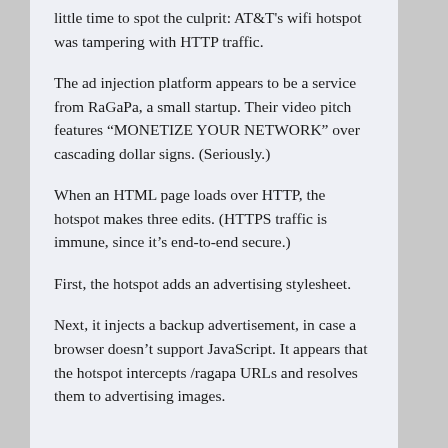little time to spot the culprit: AT&T's wifi hotspot was tampering with HTTP traffic.
The ad injection platform appears to be a service from RaGaPa, a small startup. Their video pitch features “MONETIZE YOUR NETWORK” over cascading dollar signs. (Seriously.)
When an HTML page loads over HTTP, the hotspot makes three edits. (HTTPS traffic is immune, since it’s end-to-end secure.)
First, the hotspot adds an advertising stylesheet.
Next, it injects a backup advertisement, in case a browser doesn’t support JavaScript. It appears that the hotspot intercepts /ragapa URLs and resolves them to advertising images.